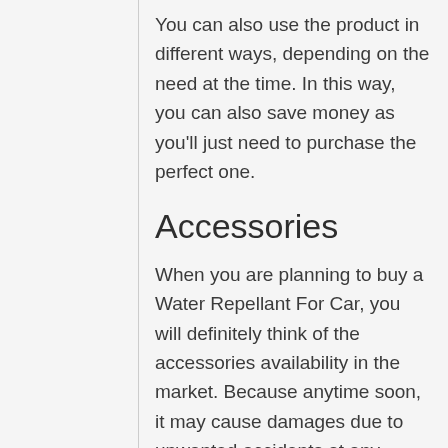You can also use the product in different ways, depending on the need at the time. In this way, you can also save money as you'll just need to purchase the perfect one.
Accessories
When you are planning to buy a Water Repellant For Car, you will definitely think of the accessories availability in the market. Because anytime soon, it may cause damages due to unwanted accidents at any stage of its usages.
Some products also come in